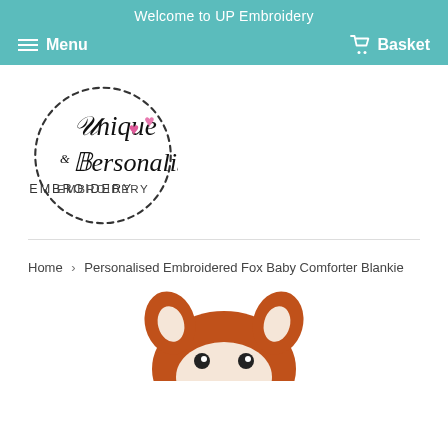Welcome to UP Embroidery
Menu   Basket
[Figure (logo): Unique & Personalised Embroidery logo — circular dashed border with cursive script text and pink heart emojis]
Home › Personalised Embroidered Fox Baby Comforter Blankie
[Figure (photo): Close-up top of a plush fox toy with orange fur, white inner ears, and cartoon eyes — partially cropped at bottom of page]